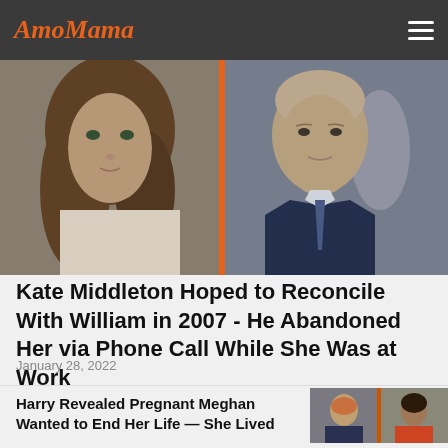AmoMama
[Figure (photo): Split photo: left side shows Kate Middleton with long brown hair wearing a white jacket; right side shows Prince William in a navy suit with a blue and purple tie. Orange vertical divider bar between the two photos.]
Kate Middleton Hoped to Reconcile With William in 2007 - He Abandoned Her via Phone Call While She Was at Work
January 28, 2022
[Figure (photo): Split photo thumbnail: left side shows Harry, right side shows Meghan at a public event.]
Harry Revealed Pregnant Meghan Wanted to End Her Life — She Lived